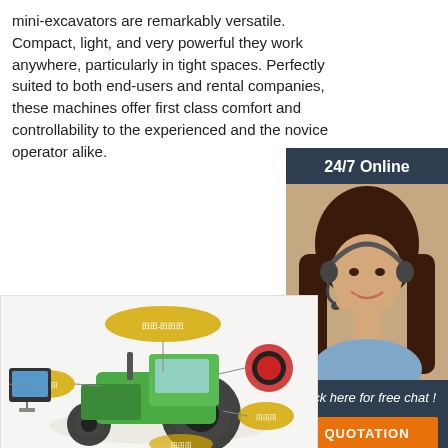mini-excavators are remarkably versatile. Compact, light, and very powerful they work anywhere, particularly in tight spaces. Perfectly suited to both end-users and rental companies, these machines offer first class comfort and controllability to the experienced and the novice operator alike.
[Figure (photo): Customer service representative woman wearing headset smiling, with '24/7 Online' header, 'Click here for free chat!' text, and orange QUOTATION button, in a dark blue sidebar widget]
Get Price
[Figure (infographic): Green tractor with labeled callout bubbles in gold/orange ovals pointing to various components: display screen, steering wheel, and other parts of the tractor]